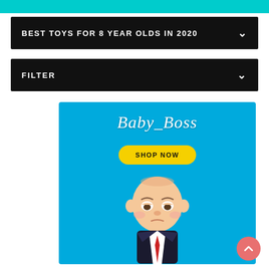BEST TOYS FOR 8 YEAR OLDS IN 2020
FILTER
[Figure (illustration): Baby_Boss branded advertisement on light blue background showing the Boss Baby animated character in a suit, with a yellow 'SHOP NOW' button and cursive 'Baby_Boss' white text.]
[Figure (other): Pink circular scroll-to-top button with upward chevron arrow]